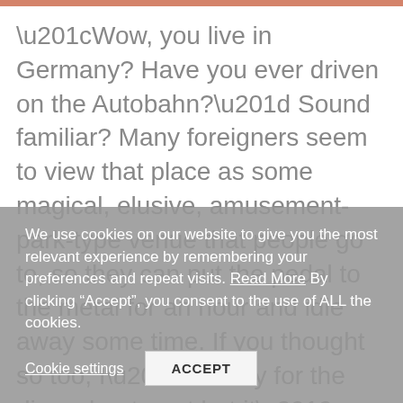“Wow, you live in Germany? Have you ever driven on the Autobahn?” Sound familiar? Many foreigners seem to view that place as some magical, elusive, amusement-park-type venue that people go to, so they can put the pedal to the metal for an hour and idle away some time. If you thought so too, I’m sorry for the disenchantment but it’s just a regular motorway and, rather than to race, most people simply use it to irritatedly twiddle their
We use cookies on our website to give you the most relevant experience by remembering your preferences and repeat visits. Read More By clicking “Accept”, you consent to the use of ALL the cookies.
Cookie settings
ACCEPT